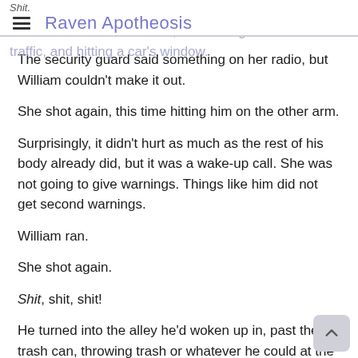Shit. Raven Apotheosis
The bullet hit his metal arm, ricocheting off onto the traffic, and hitting a car's window.
The security guard said something on her radio, but William couldn't make it out.
She shot again, this time hitting him on the other arm.
Surprisingly, it didn't hurt as much as the rest of his body already did, but it was a wake-up call. She was not going to give warnings. Things like him did not get second warnings.
William ran.
She shot again.
Shit, shit, shit!
He turned into the alley he'd woken up in, past the trash can, throwing trash or whatever he could at the woman.
She kept shooting.